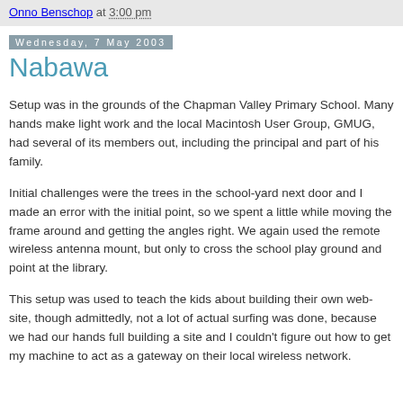Onno Benschop at 3:00 pm
Wednesday, 7 May 2003
Nabawa
Setup was in the grounds of the Chapman Valley Primary School. Many hands make light work and the local Macintosh User Group, GMUG, had several of its members out, including the principal and part of his family.
Initial challenges were the trees in the school-yard next door and I made an error with the initial point, so we spent a little while moving the frame around and getting the angles right. We again used the remote wireless antenna mount, but only to cross the school play ground and point at the library.
This setup was used to teach the kids about building their own web-site, though admittedly, not a lot of actual surfing was done, because we had our hands full building a site and I couldn't figure out how to get my machine to act as a gateway on their local wireless network.